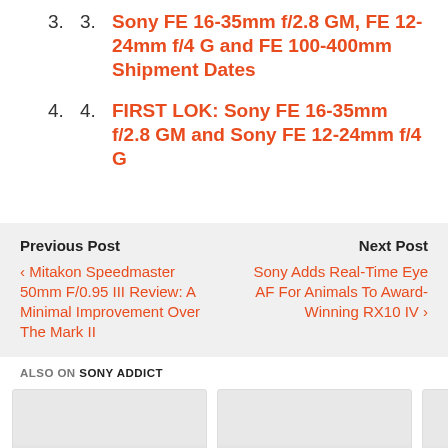3. Sony FE 16-35mm f/2.8 GM, FE 12-24mm f/4 G and FE 100-400mm Shipment Dates
4. FIRST LOK: Sony FE 16-35mm f/2.8 GM and Sony FE 12-24mm f/4 G
Previous Post
< Mitakon Speedmaster 50mm F/0.95 III Review: A Minimal Improvement Over The Mark II
Next Post
Sony Adds Real-Time Eye AF For Animals To Award-Winning RX10 IV >
ALSO ON SONY ADDICT
[Figure (other): Two image card placeholders in a row with navigation arrows]